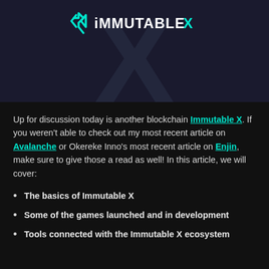[Figure (logo): Immutable X logo with teal icon and text on dark blue background with X watermark]
Up for discussion today is another blockchain Immutable X. If you weren't able to check out my most recent article on Avalanche or Okereke Inno's most recent article on Enjin, make sure to give those a read as well! In this article, we will cover:
The basics of Immutable X
Some of the games launched and in development
Tools connected with the Immutable X ecosystem